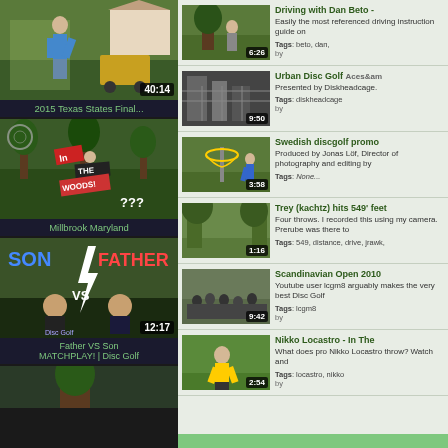[Figure (screenshot): Video thumbnail: 2015 Texas States Final, duration 40:14, outdoor disc golf action shot]
2015 Texas States Final...
[Figure (screenshot): Video thumbnail: Millbrook Maryland, In The Woods disc golf, duration ???]
Millbrook Maryland
[Figure (screenshot): Video thumbnail: Father VS Son MATCHPLAY! Disc Golf, duration 12:17]
Father VS Son MATCHPLAY! | Disc Golf
[Figure (screenshot): Video thumbnail: partial view, bottom of page]
[Figure (screenshot): Right column video list item: Driving with Dan Beto, duration 6:26]
Driving with Dan Beto - Easily the most referenced driving instruction guide on Tags: beto, dan, by
[Figure (screenshot): Right column video list item: Urban Disc Golf, Aces&am..., duration 9:50]
Urban Disc Golf Aces&am Presented by Diskheadcage. Tags: diskheadcage by
[Figure (screenshot): Right column video list item: Swedish discgolf promo, duration 3:58]
Swedish discgolf promo Produced by Jonas Löf, Director of photography and editing by Tags: None...
[Figure (screenshot): Right column video list item: Trey (kachtz) hits 549' feet, duration 1:16]
Trey (kachtz) hits 549' feet Four throws. I recorded this using my camera. Prerube was there to Tags: 549, distance, drive, jrawk,
[Figure (screenshot): Right column video list item: Scandinavian Open 2010, duration 9:42]
Scandinavian Open 2010 Youtube user lcgm8 arguably makes the very best Disc Golf Tags: lcgm8 by
[Figure (screenshot): Right column video list item: Nikko Locastro - In The..., duration 2:54]
Nikko Locastro - In The What does pro Nikko Locastro throw? Watch and Tags: locastro, nikko by